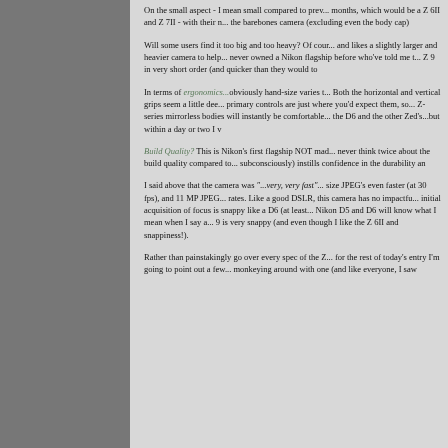On the small aspect - I mean small compared to previous months, which would be a Z 6II and Z 7II - with their r... the barebones camera (excluding even the body cap)
Will some users find it too big and too heavy? Of cour... and likes a slightly larger and heavier camera to help... never owned a Nikon flagship before who've told me t... Z 9 in very short order (and quicker than they would to
In terms of ergonomics...obviously hand-size varies t... Both the horizontal and vertical grips seem a little dee... primary controls are just where you'd expect them, so... Z-series mirrorless bodies will instantly be comfortable... the D6 and the other Zed's...but within a day or two I v
Build Quality? This is Nikon's first flagship NOT mad... never think twice about the build quality compared to... subconsciously) instills confidence in the durability an
I said above that the camera was "...very, very fast".... size JPEG's even faster (at 30 fps), and 11 MP JPEG... rates. Like a good DSLR, this camera has no impactfu... initial acquisition of focus is snappy like a D6 (at least... Nikon D5 and D6 will know what I mean when I say a... 9 is very snappy (and even though I like the Z 6II and snappiness!).
Rather than painstakingly go over every spec of the Z... for the rest of today's entry I'm going to point out a few... monkeying around with one (and like everyone, I saw